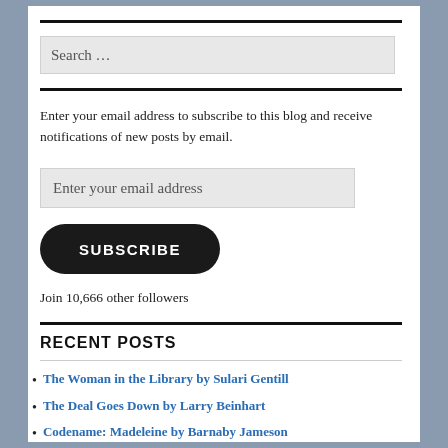Search …
Enter your email address to subscribe to this blog and receive notifications of new posts by email.
Enter your email address
SUBSCRIBE
Join 10,666 other followers
RECENT POSTS
The Woman in the Library by Sulari Gentill
The Deal Goes Down by Larry Beinhart
Codename: Madeleine by Barnaby Jameson